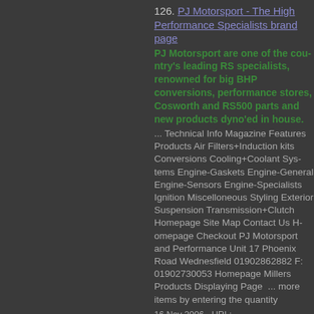126. PJ Motorsport - The High Performance Specialists brand page
PJ Motorsport are one of the country's leading RS specialists, renowned for big BHP conversions, performance stores, Cosworth and RS500 parts and new products dyno'ed in house.
... Technical Info Magazine Features Products Air Filters+Induction kits Conversions Cooling+Coolant Systems Engine-Gaskets Engine-General Engine-Sensors Engine-Specialists Ignition Miscelloneous Styling Exterior Suspension Transmission+Clutch Homepage Site Map Contact Us Homepage Checkout PJ Motorsport and Performance Unit 17 Phoenix Road Wednesfield 01902862882 F: 01902730053 Millers Products Displaying Page ... more items by entering the quantity
16 Nov 2006  -  URL: http://www.pjmotorsport.com/scripts/brand_name=Millers
127. PJ Motorsport - The High Performance Specialists, About Us